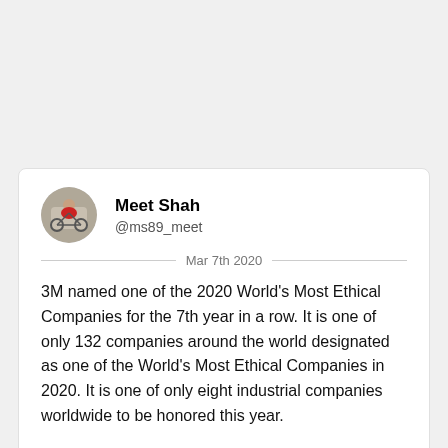[Figure (illustration): Twitter/social media card with avatar photo of Meet Shah (person with bicycle), name, handle @ms89_meet, date Mar 7th 2020, and tweet text about 3M being named World's Most Ethical Companies.]
Meet Shah
@ms89_meet
Mar 7th 2020
3M named one of the 2020 World's Most Ethical Companies for the 7th year in a row. It is one of only 132 companies around the world designated as one of the World's Most Ethical Companies in 2020. It is one of only eight industrial companies worldwide to be honored this year.
“For more than a century, we have built a foundation of